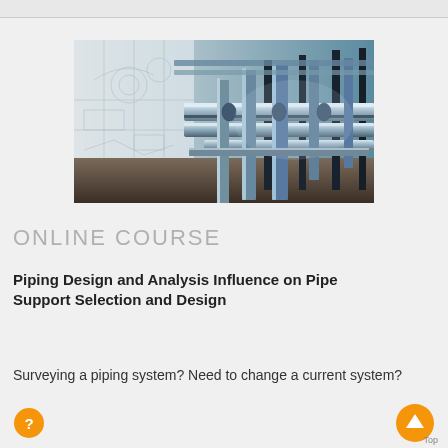[Figure (photo): Industrial piping system photograph blended with engineering blueprint/schematic drawing. The left side shows a faded white technical drawing overlay of pipe schematics; the right side transitions to a vivid photo of large metallic industrial pipes and support structures inside a facility, with blue-toned lighting.]
ONLINE COURSE
Piping Design and Analysis Influence on Pipe Support Selection and Design
Surveying a piping system? Need to change a current system?